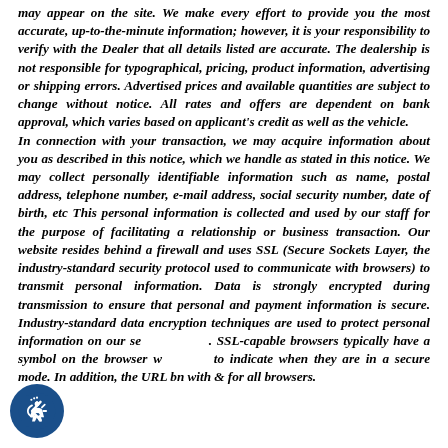may appear on the site. We make every effort to provide you the most accurate, up-to-the-minute information; however, it is your responsibility to verify with the Dealer that all details listed are accurate. The dealership is not responsible for typographical, pricing, product information, advertising or shipping errors. Advertised prices and available quantities are subject to change without notice. All rates and offers are dependent on bank approval, which varies based on applicant's credit as well as the vehicle. In connection with your transaction, we may acquire information about you as described in this notice, which we handle as stated in this notice. We may collect personally identifiable information such as name, postal address, telephone number, e-mail address, social security number, date of birth, etc This personal information is collected and used by our staff for the purpose of facilitating a relationship or business transaction. Our website resides behind a firewall and uses SSL (Secure Sockets Layer, the industry-standard security protocol used to communicate with browsers) to transmit personal information. Data is strongly encrypted during transmission to ensure that personal and payment information is secure. Industry-standard data encryption techniques are used to protect personal information on our servers. SSL-capable browsers typically have a symbol on the browser window to indicate when they are in a secure mode. In addition, the URL begins with & for all browsers.